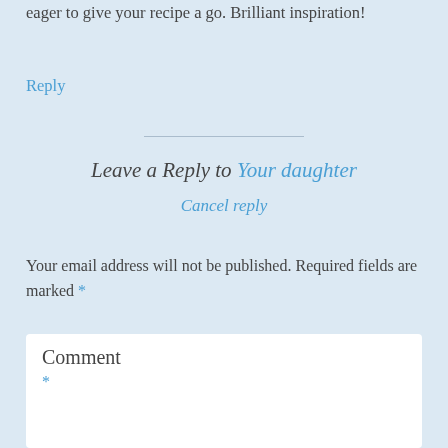eager to give your recipe a go. Brilliant inspiration!
Reply
Leave a Reply to Your daughter
Cancel reply
Your email address will not be published. Required fields are marked *
Comment *